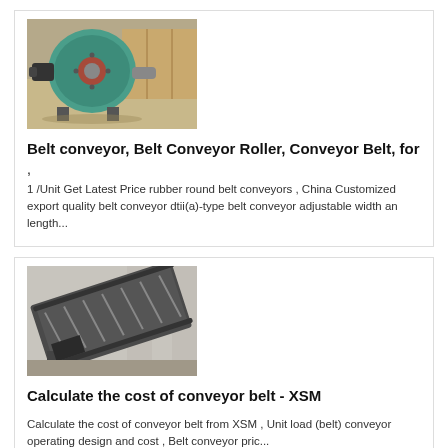[Figure (photo): Industrial conveyor/ball mill machinery in teal/green color, in a warehouse setting]
Belt conveyor, Belt Conveyor Roller, Conveyor Belt, for
,
1 /Unit Get Latest Price rubber round belt conveyors , China Customized export quality belt conveyor dtii(a)-type belt conveyor adjustable width an length...
[Figure (photo): Metal conveyor belt system with rollers, inclined, industrial setting]
Calculate the cost of conveyor belt - XSM
Calculate the cost of conveyor belt from XSM , Unit load (belt) conveyor operating design and cost , Belt conveyor pric...